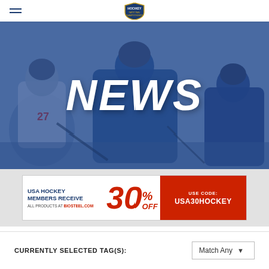USA Hockey National Championships logo
[Figure (photo): Hero banner with blue-tinted overlay showing ice hockey players in action with large white bold italic text reading NEWS centered over the image]
NEWS
[Figure (infographic): Advertisement banner: USA HOCKEY MEMBERS RECEIVE 30% OFF ALL PRODUCTS AT BIOSTEEL.COM. USE CODE: USA30HOCKEY]
CURRENTLY SELECTED TAG(S):
Match Any